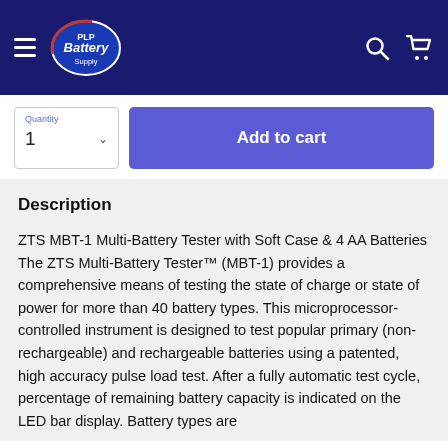PLP Battery Supply — navigation header with logo, hamburger menu, search and cart icons
Quantity
1
Add to cart
Description
ZTS MBT-1 Multi-Battery Tester with Soft Case & 4 AA Batteries The ZTS Multi-Battery Tester™ (MBT-1) provides a comprehensive means of testing the state of charge or state of power for more than 40 battery types. This microprocessor-controlled instrument is designed to test popular primary (non-rechargeable) and rechargeable batteries using a patented, high accuracy pulse load test. After a fully automatic test cycle, percentage of remaining battery capacity is indicated on the LED bar display. Battery types are